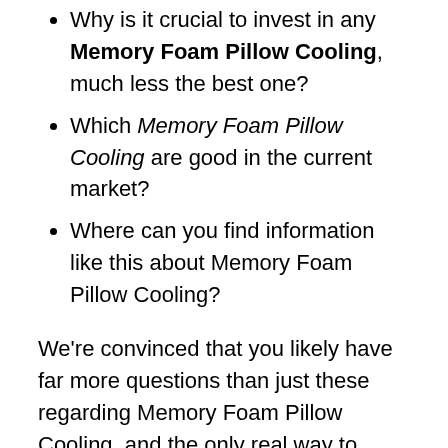Why is it crucial to invest in any Memory Foam Pillow Cooling, much less the best one?
Which Memory Foam Pillow Cooling are good in the current market?
Where can you find information like this about Memory Foam Pillow Cooling?
We're convinced that you likely have far more questions than just these regarding Memory Foam Pillow Cooling, and the only real way to satisfy your need for knowledge is to get information from as many reputable online